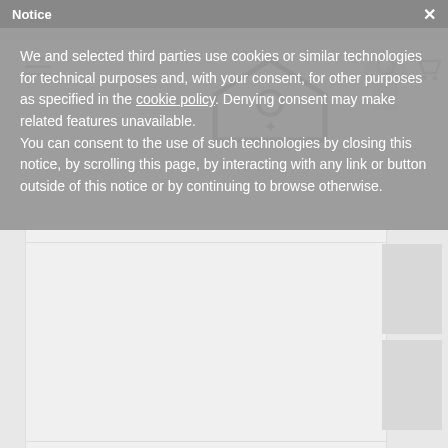[Figure (screenshot): Background e-commerce page partially visible behind cookie consent modal. Shows a navigation bar with hamburger menu, search icon, cart icon, a large product image area, and smaller thumbnail images on the right side. A pentagonal price tag/logo icon is visible in the center.]
Notice
We and selected third parties use cookies or similar technologies for technical purposes and, with your consent, for other purposes as specified in the cookie policy. Denying consent may make related features unavailable.
You can consent to the use of such technologies by closing this notice, by scrolling this page, by interacting with any link or button outside of this notice or by continuing to browse otherwise.